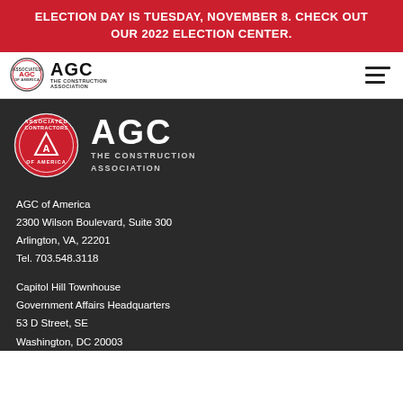ELECTION DAY IS TUESDAY, NOVEMBER 8. CHECK OUT OUR 2022 ELECTION CENTER.
[Figure (logo): AGC The Construction Association logo in nav bar]
[Figure (logo): AGC The Construction Association large logo on dark background]
AGC of America
2300 Wilson Boulevard, Suite 300
Arlington, VA, 22201
Tel. 703.548.3118
Capitol Hill Townhouse
Government Affairs Headquarters
53 D Street, SE
Washington, DC 20003